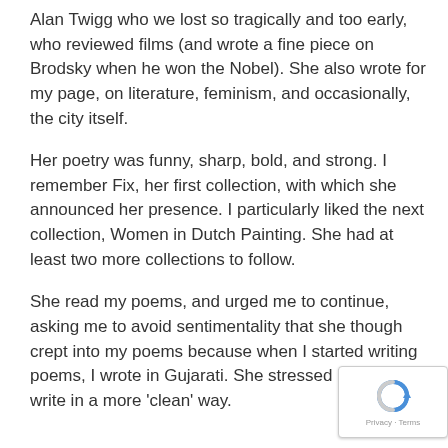Alan Twigg who we lost so tragically and too early, who reviewed films (and wrote a fine piece on Brodsky when he won the Nobel). She also wrote for my page, on literature, feminism, and occasionally, the city itself.
Her poetry was funny, sharp, bold, and strong. I remember Fix, her first collection, with which she announced her presence. I particularly liked the next collection, Women in Dutch Painting. She had at least two more collections to follow.
She read my poems, and urged me to continue, asking me to avoid sentimentality that she though crept into my poems because when I started writing poems, I wrote in Gujarati. She stressed I should write in a more 'clean' way.